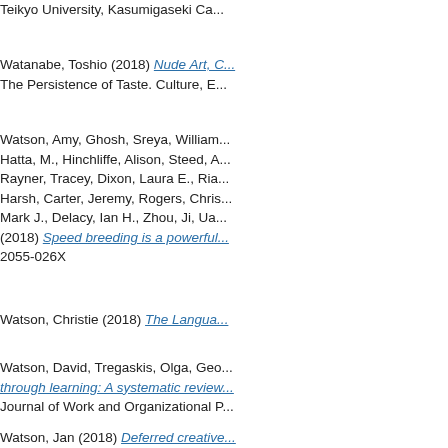Teikyo University, Kasumigaseki Ca...
Watanabe, Toshio (2018) Nude Art, C... The Persistence of Taste. Culture, E...
Watson, Amy, Ghosh, Sreya, William... Hatta, M., Hinchliffe, Alison, Steed, A... Rayner, Tracey, Dixon, Laura E., Ria... Harsh, Carter, Jeremy, Rogers, Chris... Mark J., Delacy, Ian H., Zhou, Ji, Ua... (2018) Speed breeding is a powerful... 2055-026X
Watson, Christie (2018) The Langua...
Watson, David, Tregaskis, Olga, Geo... through learning: A systematic review... Journal of Work and Organizational P...
Watson, Jan (2018) Deferred creative... practice. Teaching and Teacher Educ...
Watt, Jessica (2018) Development of... approaches. Doctoral thesis, Univers...
Watt, Jessica, Hughes, Gregory, Wal... Andrew, Angulo, Jesus and Chantry,... Chemistry - A European Journal, 24 ...
Watts, Richard A. and Robson, Joan... Research: Clinical Rheumatology, 27...